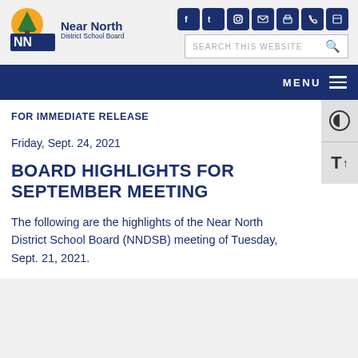[Figure (logo): Near North District School Board logo with sun and tree icon]
FOR IMMEDIATE RELEASE
Friday, Sept. 24, 2021
BOARD HIGHLIGHTS FOR SEPTEMBER MEETING
The following are the highlights of the Near North District School Board (NNDSB) meeting of Tuesday, Sept. 21, 2021.